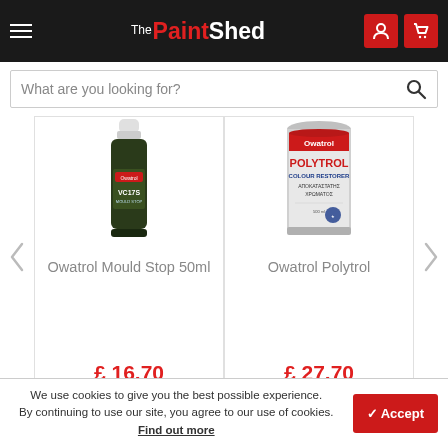The Paint Shed
What are you looking for?
[Figure (photo): Owatrol Mould Stop 50ml product bottle - small dark glass bottle with green label and white cap]
Owatrol Mould Stop 50ml
£ 16.70
[Figure (photo): Owatrol Polytrol Colour Restorer - silver/grey aerosol can with red and blue label]
Owatrol Polytrol
£ 27.70
We use cookies to give you the best possible experience. By continuing to use our site, you agree to our use of cookies. Find out more